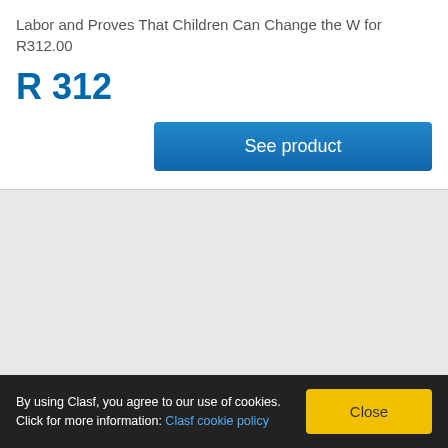Labor and Proves That Children Can Change the W for R312.00
R 312
See product
By using Clasf, you agree to our use of cookies. Click for more information: Clasf cookie policy